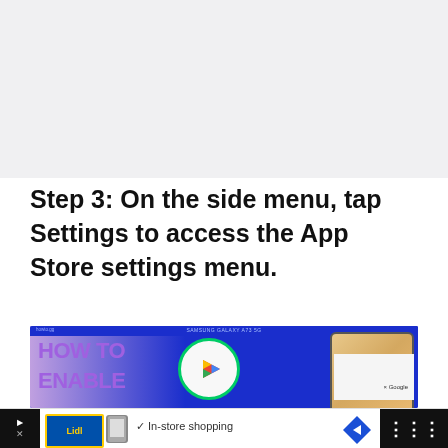[Figure (screenshot): Blank gray placeholder image area at the top of the page]
Step 3: On the side menu, tap Settings to access the App Store settings menu.
[Figure (screenshot): Screenshot thumbnail of a 'How To Enable' video about Samsung Galaxy A73 5G showing Play Store icon and phone]
[Figure (other): Advertisement bar showing Lidl logo, phone icon, checkmark, 'In-store shopping' text, navigation arrow icon]